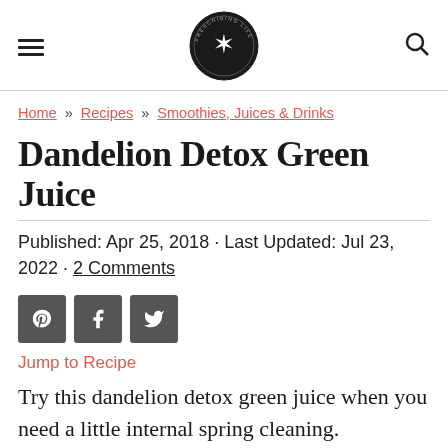[hamburger menu] [logo: Prescribing Life] [search icon]
Home » Recipes » Smoothies, Juices & Drinks
Dandelion Detox Green Juice
Published: Apr 25, 2018 · Last Updated: Jul 23, 2022 · 2 Comments
[Figure (other): Social share buttons: Pinterest, Facebook, Twitter]
Jump to Recipe
Try this dandelion detox green juice when you need a little internal spring cleaning.